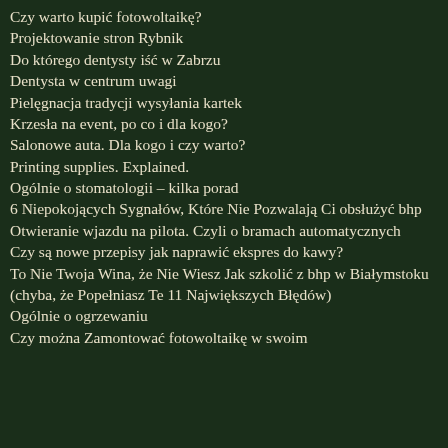Czy warto kupić fotowoltaikę?
Projektowanie stron Rybnik
Do którego dentysty iść w Zabrzu
Dentysta w centrum uwagi
Pielęgnacja tradycji wysyłania kartek
Krzesła na event, po co i dla kogo?
Salonowe auta. Dla kogo i czy warto?
Printing supplies. Explained.
Ogólnie o stomatologii – kilka porad
6 Niepokojących Sygnałów, Które Nie Pozwalają Ci obsłużyć bhp
Otwieranie wjazdu na pilota. Czyli o bramach automatycznych
Czy są nowe przepisy jak naprawić ekspres do kawy?
To Nie Twoja Wina, że Nie Wiesz Jak szkolić z bhp w Białymstoku (chyba, że Popełniasz Te 11 Największych Błędów)
Ogólnie o ogrzewaniu
Czy można Zamontować fotowoltaikę w swoim